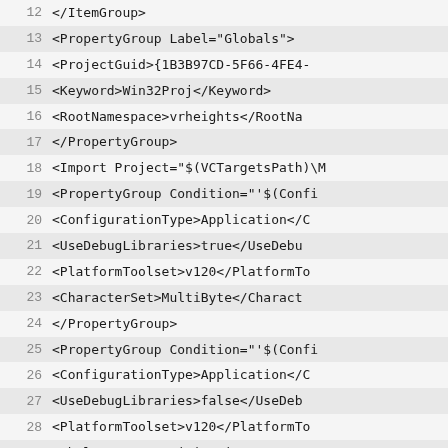[Figure (screenshot): Code editor view showing XML project configuration file lines 12-39, with alternating light gray row highlighting and line numbers on the left.]